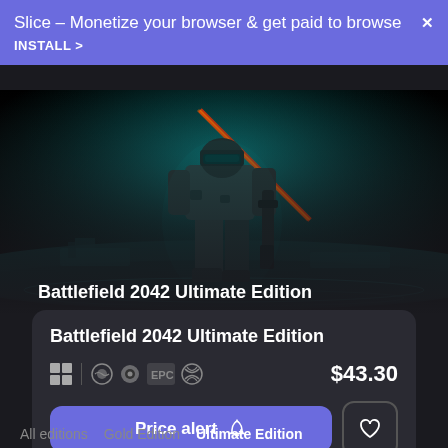Slice – Monetize your browser & get paid to browse
INSTALL >
[Figure (photo): Battlefield 2042 game art showing soldier standing with weapon in teal/cyan colored coastal scene]
Battlefield 2042 Ultimate Edition
$43.30
Price alert  🔔
All editions
Gold Edition
Ultimate Edition
Launchers: All ∨   Regions: All ∨